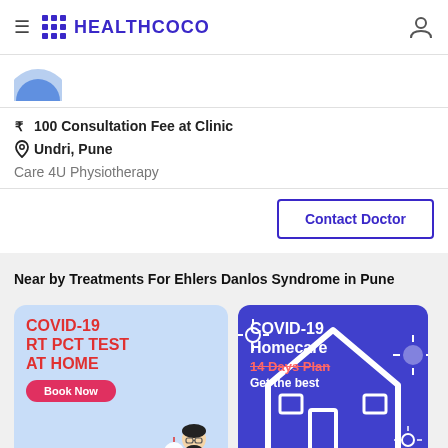HEALTHCOCO
₹ 100 Consultation Fee at Clinic
Undri, Pune
Care 4U Physiotherapy
Contact Doctor
Near by Treatments For Ehlers Danlos Syndrome in Pune
[Figure (infographic): COVID-19 RT PCT TEST AT HOME promotional card with Book Now button and nurse illustration]
[Figure (infographic): COVID-19 Homecare 14 Days Plan Get the best promotional card with house icon and virus decorations]